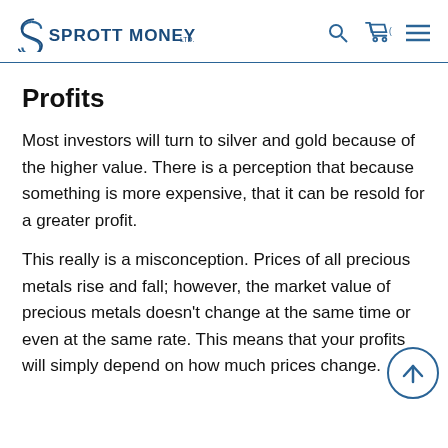SPROTT MONEY
Profits
Most investors will turn to silver and gold because of the higher value. There is a perception that because something is more expensive, that it can be resold for a greater profit.
This really is a misconception. Prices of all precious metals rise and fall; however, the market value of precious metals doesn't change at the same time or even at the same rate. This means that your profits will simply depend on how much prices change.